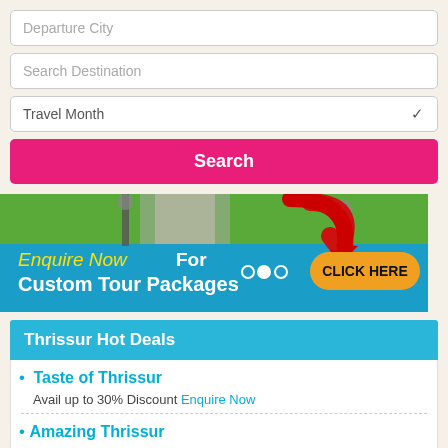[Figure (screenshot): Search form with Departure City, Search Destination, Travel Month fields and a pink Search button]
[Figure (infographic): Banner ad: green park background with red arrow pointing to orange CLICK HERE button. Text: 'Enquire Now For Custom Tour Packages']
Thrissur Hot Deals
Taste of Thrissur — Avail up to 30% Discount Enquire Now
Amazing Thrissur — Avail up to 45% Discount Enquire Now
Unforgettable Thrissur